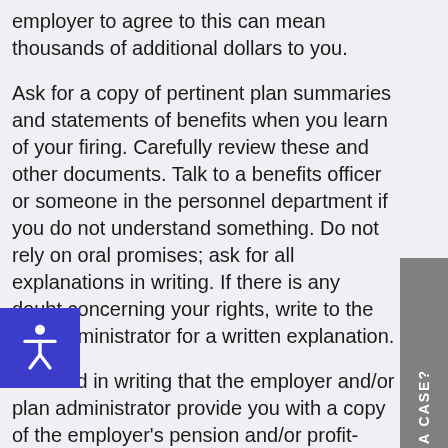employer to agree to this can mean thousands of additional dollars to you.
Ask for a copy of pertinent plan summaries and statements of benefits when you learn of your firing. Carefully review these and other documents. Talk to a benefits officer or someone in the personnel department if you do not understand something. Do not rely on oral promises; ask for all explanations in writing. If there is any doubt concerning your rights, write to the plan administrator for a written explanation.
Demand in writing that the employer and/or plan administrator provide you with a copy of the employer's pension and/or profit-sharing plans from the plan administrator if the employer refuses to furnish you with accurate details. A sample demand letter is contained